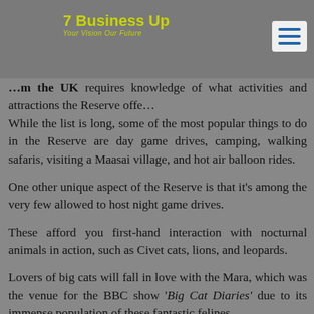7 Business Up – Your Vision Our Future
from the UK requires knowledge of what activities and attractions the Reserve offers. While the list is long, some of the most popular things to do in the Reserve are day game drives, camping, walking safaris, visiting a Maasai village, and hot air balloon rides.
One other unique aspect of the Reserve is that it's among the very few allowed to host night game drives.
These afford you first-hand interaction with nocturnal animals in action, such as Civet cats, lions, and leopards.
Lovers of big cats will fall in love with the Mara, which was the venue for the BBC show 'Big Cat Diaries' due to its immense population of these fantastic felines.
Kenya Safari Destination